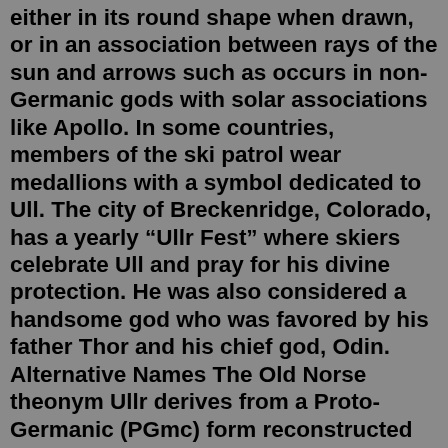either in its round shape when drawn, or in an association between rays of the sun and arrows such as occurs in non-Germanic gods with solar associations like Apollo. In some countries, members of the ski patrol wear medallions with a symbol dedicated to Ull. The city of Breckenridge, Colorado, has a yearly “Ullr Fest” where skiers celebrate Ull and pray for his divine protection. He was also considered a handsome god who was favored by his father Thor and his chief god, Odin. Alternative Names The Old Norse theonym Ullr derives from a Proto-Germanic (PGmc) form reconstructed as *Wulþuz (‘Glory’), which is attested in the compound owlþu-þwaz (𐀀𐀁𐀂𐀃𐀄𐀅𐀆𐀇𐀈), meaning either ‘servant of Owlþuz ’, or ‘who has glorious servants’, found on the Thorsberg chape (3rd c. AD), as well as in the Gothic noun wulþus (‘glory, wealth’). They have associations with kingship – Ullr as a chieftain, and Cernunnos with his king-symbol the torc. Both are also associated with oath rings binding rulers and their subjects. Ullr’s name means “Glory” and he is the god